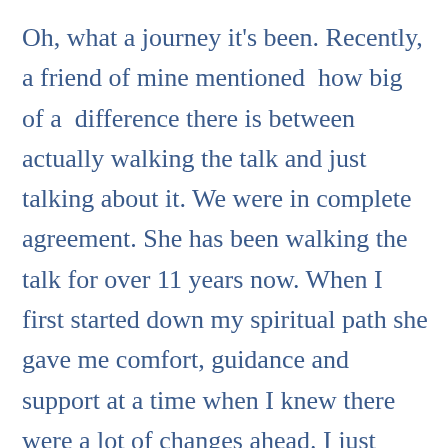Oh, what a journey it's been. Recently, a friend of mine mentioned  how big of a  difference there is between actually walking the talk and just talking about it. We were in complete agreement. She has been walking the talk for over 11 years now. When I first started down my spiritual path she gave me comfort, guidance and support at a time when I knew there were a lot of changes ahead. I just didn't know what I didn't know yet. In her knowing, she taught me to trust and to be patient as my life transformed. I am eternally grateful to her.

At the time, I was just beginning to see things in a